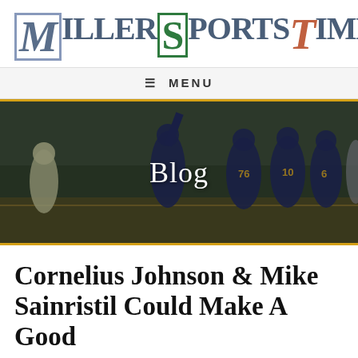[Figure (logo): MillerSportsTime logo with stylized letters in blue, green, and orange/teal colors]
≡ MENU
[Figure (photo): University of Michigan football players in navy and gold uniforms celebrating on the field, with a player raising his hand holding a football, jersey numbers 76, 10, 6 visible, against a crowd background]
Blog
Cornelius Johnson & Mike Sainristil Could Make A Good